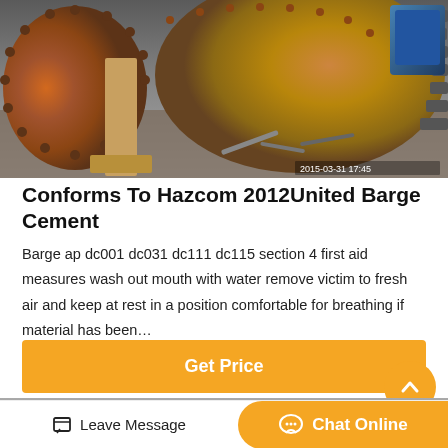[Figure (photo): Industrial ball mill or drum grinder machine, rusty brown/orange color, with large bolted circular end cap and gear assembly, photographed in an industrial setting with tools on the ground. Timestamp visible: 2015-03-31 17:45]
Conforms To Hazcom 2012United Barge Cement
Barge ap dc001 dc031 dc111 dc115 section 4 first aid measures wash out mouth with water remove victim to fresh air and keep at rest in a position comfortable for breathing if material has been…
Get Price
[Figure (photo): Partial view of industrial machinery or equipment, gray tones, bottom of page]
Leave Message
Chat Online